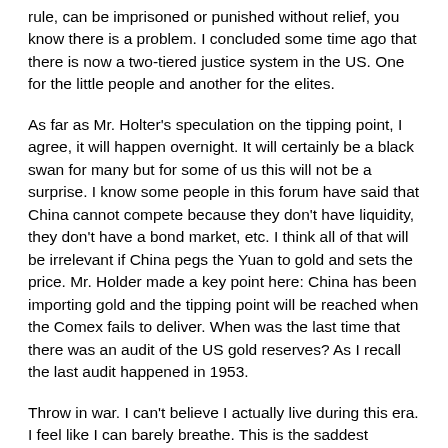rule, can be imprisoned or punished without relief, you know there is a problem. I concluded some time ago that there is now a two-tiered justice system in the US. One for the little people and another for the elites.
As far as Mr. Holter's speculation on the tipping point, I agree, it will happen overnight. It will certainly be a black swan for many but for some of us this will not be a surprise. I know some people in this forum have said that China cannot compete because they don't have liquidity, they don't have a bond market, etc. I think all of that will be irrelevant if China pegs the Yuan to gold and sets the price. Mr. Holder made a key point here: China has been importing gold and the tipping point will be reached when the Comex fails to deliver. When was the last time that there was an audit of the US gold reserves? As I recall the last audit happened in 1953.
Throw in war. I can't believe I actually live during this era. I feel like I can barely breathe. This is the saddest interview I have seen on this program. I understand the implications too well. I wish I didn't know. I wish I didn't understand the implications. Ignorance is bliss. But knowledge can be the cruelest form of